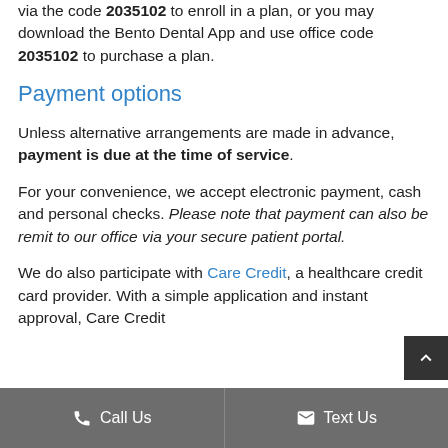via the code 2035102 to enroll in a plan, or you may download the Bento Dental App and use office code 2035102 to purchase a plan.
Payment options
Unless alternative arrangements are made in advance, payment is due at the time of service.
For your convenience, we accept electronic payment, cash and personal checks. Please note that payment can also be remit to our office via your secure patient portal.
We do also participate with Care Credit, a healthcare credit card provider. With a simple application and instant approval, Care Credit
Call Us   Text Us